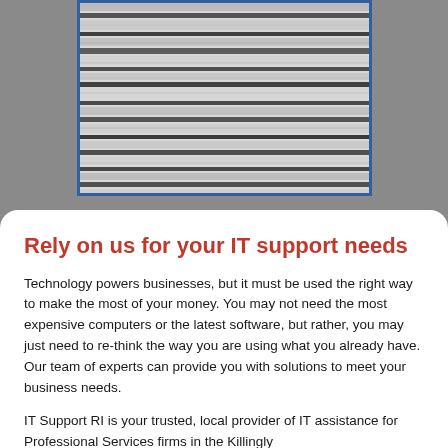[Figure (photo): Close-up photo of striped knit fabric or textile with dark and light horizontal stripes, framed with a blue border, on a grey background.]
Rely on us for your IT support needs
Technology powers businesses, but it must be used the right way to make the most of your money. You may not need the most expensive computers or the latest software, but rather, you may just need to re-think the way you are using what you already have. Our team of experts can provide you with solutions to meet your business needs.
IT Support RI is your trusted, local provider of IT assistance for Professional Services firms in the Killingly